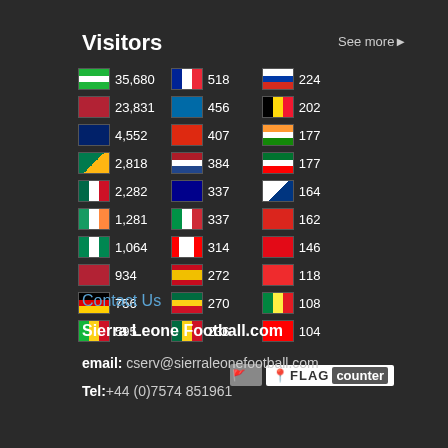Visitors
See more▶
[Figure (infographic): Flag counter widget showing visitor counts by country. Column 1: Sierra Leone 35,680; USA 23,831; UK 4,552; South Africa 2,818; Mexico 2,282; Ireland 1,281; Nigeria 1,064; US/Liberia 934; Germany 756; Mali 595. Column 2: France 518; Sweden 456; China 407; Netherlands 384; Australia 337; Italy 337; Canada 314; Spain 272; Ghana 270; Ghana 236. Column 3: Russia 224; Belgium 202; India 177; UAE 177; Finland 164; Vietnam 162; Turkey 146; Norway 118; Senegal 108; Switzerland 104.]
[Figure (logo): FLAG counter logo badge]
Contact Us
Sierra Leone Football.com
email: cserv@sierraleonefootball.com
Tel:+44 (0)7574 851961